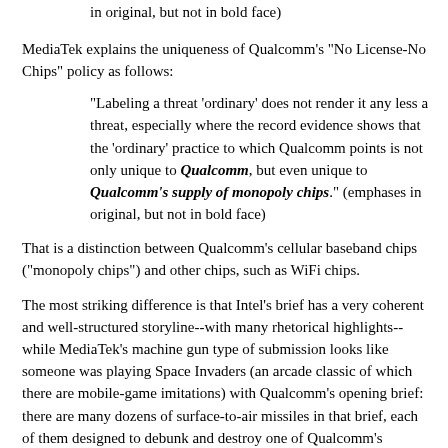in original, but not in bold face)
MediaTek explains the uniqueness of Qualcomm's "No License-No Chips" policy as follows:
"Labeling a threat 'ordinary' does not render it any less a threat, especially where the record evidence shows that the 'ordinary' practice to which Qualcomm points is not only unique to Qualcomm, but even unique to Qualcomm's supply of monopoly chips." (emphases in original, but not in bold face)
That is a distinction between Qualcomm's cellular baseband chips ("monopoly chips") and other chips, such as WiFi chips.
The most striking difference is that Intel's brief has a very coherent and well-structured storyline--with many rhetorical highlights--while MediaTek's machine gun type of submission looks like someone was playing Space Invaders (an arcade classic of which there are mobile-game imitations) with Qualcomm's opening brief: there are many dozens of surface-to-air missiles in that brief, each of them designed to debunk and destroy one of Qualcomm's criticims of Judge Lucy H. Koh's ruling.
There's really a ton of material that the Ninth Circuit's clerks could almost copy and paste from MediaTek's brief to compose an opinion resulting in affirmance. Intel's brief--authored by a legal team led by former U.S. Solicitor